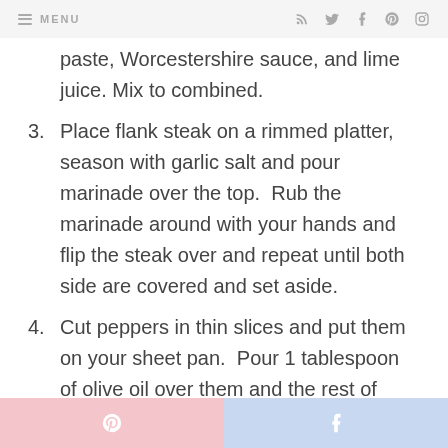MENU
paste, Worcestershire sauce, and lime juice. Mix to combined.
3. Place flank steak on a rimmed platter, season with garlic salt and pour marinade over the top.  Rub the marinade around with your hands and flip the steak over and repeat until both side are covered and set aside.
4. Cut peppers in thin slices and put them on your sheet pan.  Pour 1 tablespoon of olive oil over them and the rest of fajita